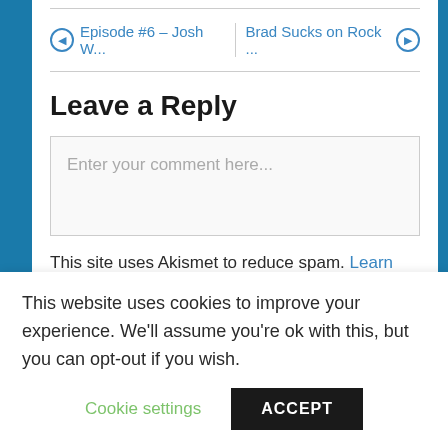← Episode #6 – Josh W...    Brad Sucks on Rock ... →
Leave a Reply
Enter your comment here...
This site uses Akismet to reduce spam. Learn how your comment data is processed.
This website uses cookies to improve your experience. We'll assume you're ok with this, but you can opt-out if you wish.
Cookie settings   ACCEPT